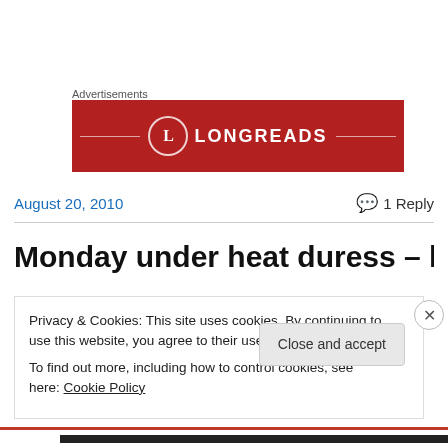Advertisements
[Figure (logo): Longreads advertisement banner — red background with Longreads logo (circle with L) and text LONGREADS in white]
August 20, 2010
1 Reply
Monday under heat duress – l
Privacy & Cookies: This site uses cookies. By continuing to use this website, you agree to their use.
To find out more, including how to control cookies, see here: Cookie Policy
Close and accept